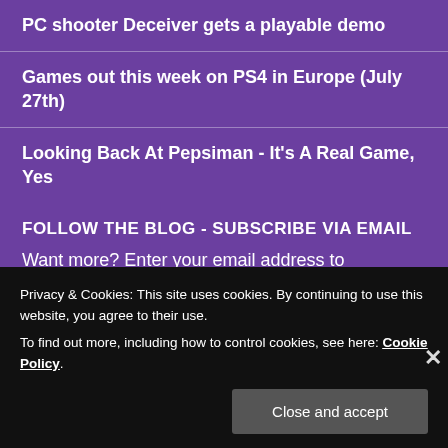PC shooter Deceiver gets a playable demo
Games out this week on PS4 in Europe (July 27th)
Looking Back At Pepsiman - It's A Real Game, Yes
FOLLOW THE BLOG - SUBSCRIBE VIA EMAIL
Want more? Enter your email address to subscribe to Nitchigamer and receive notifications of new posts by email.
Privacy & Cookies: This site uses cookies. By continuing to use this website, you agree to their use.
To find out more, including how to control cookies, see here: Cookie Policy
Close and accept